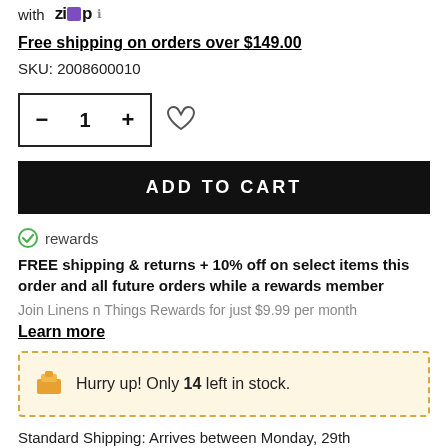with Zip
Free shipping on orders over $149.00
SKU: 2008600010
- 1 + [quantity selector with wishlist heart]
ADD TO CART
rewards
FREE shipping & returns + 10% off on select items this order and all future orders while a rewards member
Join Linens n Things Rewards for just $9.99 per month
Learn more
Hurry up! Only 14 left in stock.
Standard Shipping: Arrives between Monday, 29th